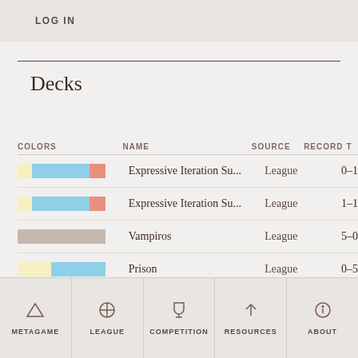LOG IN
Decks
| COLORS | NAME | SOURCE | RECORD | T |
| --- | --- | --- | --- | --- |
| [yellow/blue/red] | Expressive Iteration Su... | League | 0–1 |  |
| [yellow/blue/red] | Expressive Iteration Su... | League | 1–1 |  |
| [gray] | Vampiros | League | 5–0 |  |
| [yellow/blue] | Prison | League | 0–5 |  |
| [yellow/gray] | Monkey Pox | League | 2–3 |  |
| [yellow/gray/orange] | Monkey Pox | League | 4–1 |  |
| [blue] | Blucifer | League | 1–4 |  |
METAGAME  LEAGUE  COMPETITION  RESOURCES  ABOUT